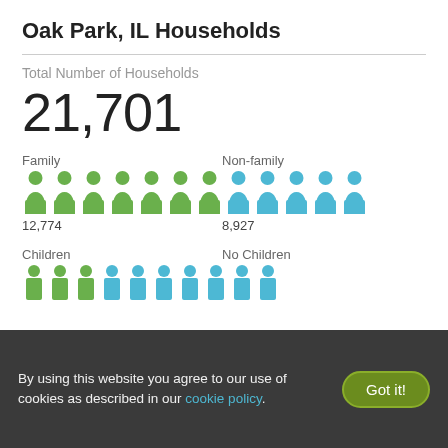Oak Park, IL Households
Total Number of Households
21,701
[Figure (infographic): Person icon infographic showing Family (12,774) vs Non-family (8,927) households. Green icons for Family (approx 7 icons), blue icons for Non-family (approx 5 icons).]
[Figure (infographic): Person icon infographic showing Children vs No Children households. Green and blue icons partially visible.]
By using this website you agree to our use of cookies as described in our cookie policy.